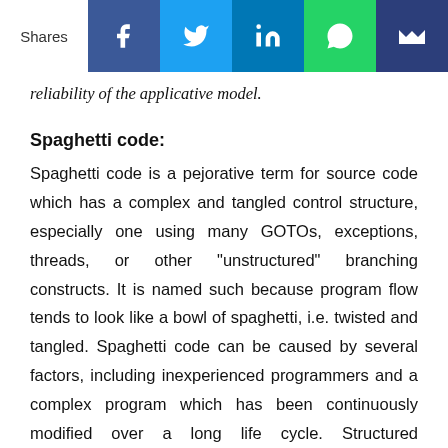Shares | Facebook | Twitter | LinkedIn | WhatsApp | Email
reliability of the applicative model.
Spaghetti code:
Spaghetti code is a pejorative term for source code which has a complex and tangled control structure, especially one using many GOTOs, exceptions, threads, or other "unstructured" branching constructs. It is named such because program flow tends to look like a bowl of spaghetti, i.e. twisted and tangled. Spaghetti code can be caused by several factors, including inexperienced programmers and a complex program which has been continuously modified over a long life cycle. Structured programming greatly decreased the